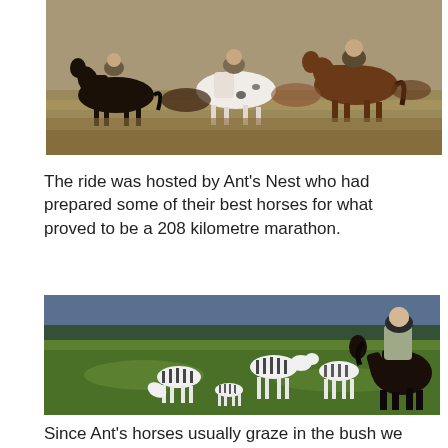[Figure (photo): A group of riders on horses galloping across an open savanna landscape. Multiple horses visible including a spotted Appaloosa.]
The ride was hosted by Ant's Nest who had prepared some of their best horses for what proved to be a 208 kilometre marathon.
[Figure (photo): A smiling rider wearing a cap, mounted on a dark horse in a green bush landscape. Several zebras are visible in the middle ground grazing nearby.]
Since Ant's horses usually graze in the bush we were able to